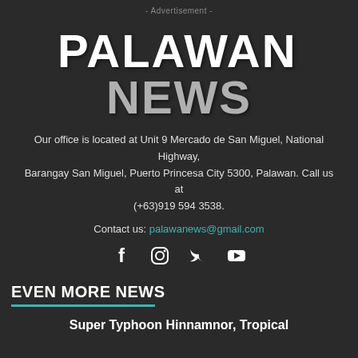- Advertisement -
PALAWAN NEWS
Our office is located at Unit 9 Mercado de San Miguel, National Highway, Barangay San Miguel, Puerto Princesa City 5300, Palawan. Call us at (+63)919 594 3538.
Contact us: palawanews@gmail.com
[Figure (infographic): Social media icons: Facebook, Instagram, Twitter, YouTube]
EVEN MORE NEWS
Super Typhoon Hinnamnor, Tropical